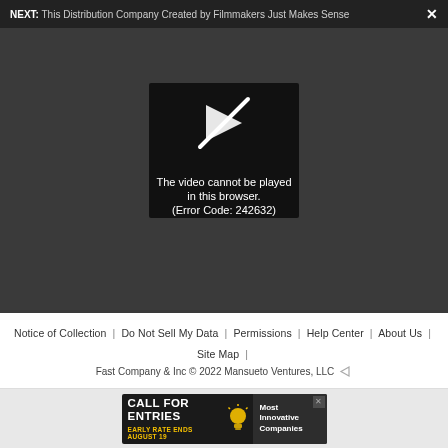NEXT: This Distribution Company Created by Filmmakers Just Makes Sense
[Figure (screenshot): Video player showing error message: 'The video cannot be played in this browser. (Error Code: 242632)' with a play button icon crossed out, on a dark background.]
Notice of Collection | Do Not Sell My Data | Permissions | Help Center | About Us | Site Map | Fast Company & Inc © 2022 Mansueto Ventures, LLC
[Figure (photo): Advertisement banner: 'CALL FOR ENTRIES — EARLY RATE ENDS AUGUST 19' with lightbulb icon and 'Most Innovative Companies' text.]